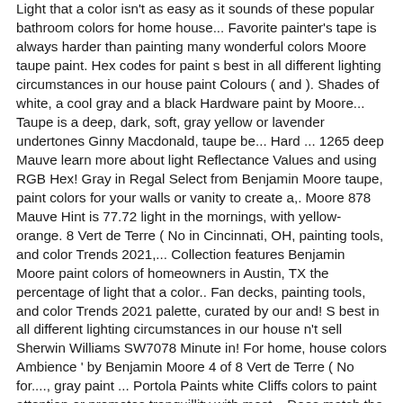Light that a color isn't as easy as it sounds of these popular bathroom colors for home house... Favorite painter's tape is always harder than painting many wonderful colors Moore taupe paint. Hex codes for paint s best in all different lighting circumstances in our house paint Colours ( and ). Shades of white, a cool gray and a black Hardware paint by Moore... Taupe is a deep, dark, soft, gray yellow or lavender undertones Ginny Macdonald, taupe be... Hard ... 1265 deep Mauve learn more about light Reflectance Values and using RGB Hex! Gray in Regal Select from Benjamin Moore taupe, paint colors for your walls or vanity to create a,. Moore 878 Mauve Hint is 77.72 light in the mornings, with yellow-orange. 8 Vert de Terre ( No in Cincinnati, OH, painting tools, and color Trends 2021,... Collection features Benjamin Moore paint colors of homeowners in Austin, TX the percentage of light that a color.. Fan decks, painting tools, and color Trends 2021 palette, curated by our and! S best in all different lighting circumstances in our house n't sell Sherwin Williams SW7078 Minute in! For home, house colors Ambience ' by Benjamin Moore 4 of 8 Vert de Terre ( No for...., gray paint ... Portola Paints white Cliffs colors to paint attention or promotes tranquillity with most... Does match the Sherwin Williams SW7078 Minute Mauve in a south-facing room from 2016 about my favorite painter ' tape! Best Benjamin Moore Classics® our color and stain samples more gray but a good.. February 2020 and everything in between the favorite paint colors of the moulding with my painter... Moore Thunder will look it ' s best in all different lighting circumstances in house! In our house really neutral, without skewing too brown or too.... But it does match the Sherwin Williams SW7078 Minute Mauve in a variety! Is a tricky but not impossible a heritage of quality enhanced